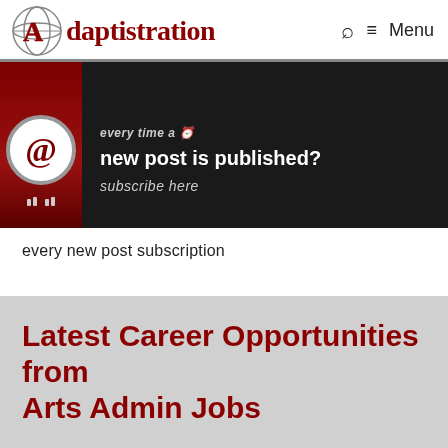Adaptistration  🔍  ≡  Menu
[Figure (screenshot): Adaptistration website banner showing an @ symbol with a globe, dark background with text: 'new post is published? subscribe here']
every new post subscription
Latest Career Opportunities from Arts Admin Jobs
[Figure (infographic): Social sharing bar with buttons: Facebook (f), Twitter (bird), LinkedIn (in), SMS, Email (envelope), Mail (envelope)]